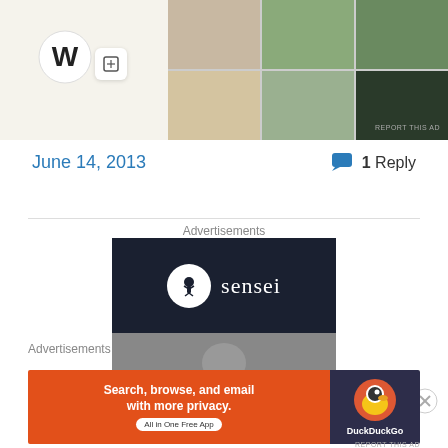[Figure (screenshot): Top advertisement area showing WordPress logo icon and food delivery app screenshots in a grid]
REPORT THIS AD
June 14, 2013
1 Reply
Advertisements
[Figure (advertisement): Sensei advertisement with dark navy background showing sensei logo (bonsai tree icon) and text 'sensei', below is a grayscale photo of a chef]
[Figure (advertisement): DuckDuckGo advertisement on orange background: 'Search, browse, and email with more privacy. All in One Free App' with DuckDuckGo duck logo]
Advertisements
REPORT THIS AD